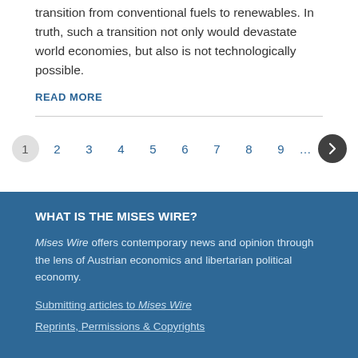transition from conventional fuels to renewables. In truth, such a transition not only would devastate world economies, but also is not technologically possible.
READ MORE
1 2 3 4 5 6 7 8 9 … ›
WHAT IS THE MISES WIRE?
Mises Wire offers contemporary news and opinion through the lens of Austrian economics and libertarian political economy.
Submitting articles to Mises Wire
Reprints, Permissions & Copyrights